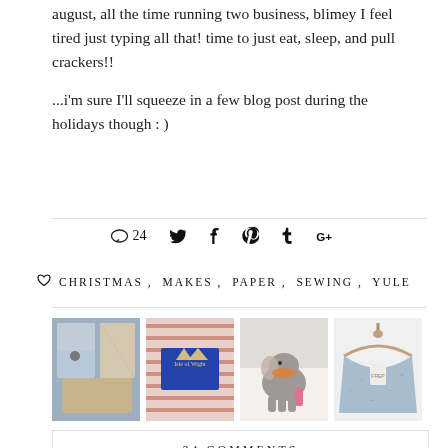august, all the time running two business, blimey I feel tired just typing all that! time to just eat, sleep, and pull crackers!!
...i'm sure I'll squeeze in a few blog post during the holidays though : )
♡ 24  [twitter] [facebook] [pinterest] [tumblr] [google+]
♡  CHRISTMAS ,  MAKES ,  PAPER ,  SEWING ,  YULE
[Figure (photo): Four photos in a row: quilted fabric pieces, Isle of Wight bag with striped fabric, small stuffed elephant toy, floral jacket on hanger]
24 COMMENTS
Denisa T.
22.12.13